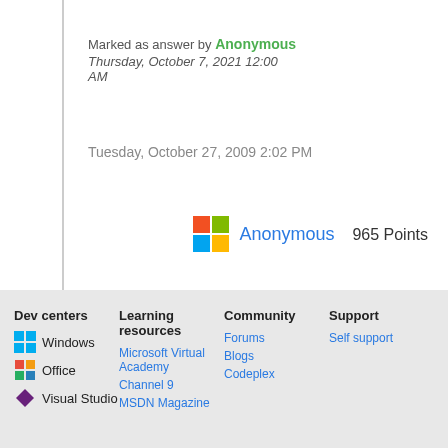Marked as answer by  Anonymous  Thursday, October 7, 2021 12:00 AM
Tuesday, October 27, 2009 2:02 PM
Anonymous   965 Points
Dev centers
Windows
Office
Visual Studio
Learning resources
Microsoft Virtual Academy
Channel 9
MSDN Magazine
Community
Forums
Blogs
Codeplex
Support
Self support